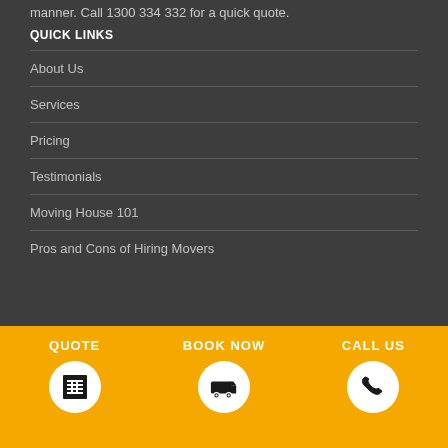manner. Call 1300 334 332 for a quick quote.
QUICK LINKS
About Us
Services
Pricing
Testimonials
Moving House 101
Pros and Cons of Hiring Movers
QUOTE  BOOK NOW  CALL US